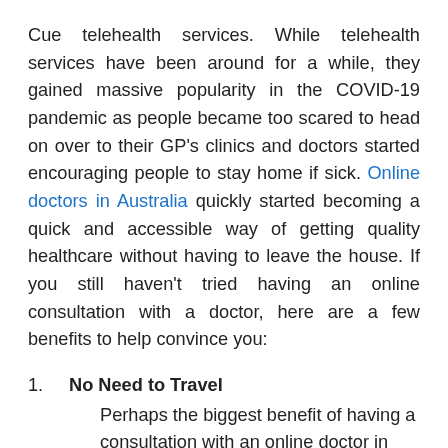Cue telehealth services. While telehealth services have been around for a while, they gained massive popularity in the COVID-19 pandemic as people became too scared to head on over to their GP's clinics and doctors started encouraging people to stay home if sick. Online doctors in Australia quickly started becoming a quick and accessible way of getting quality healthcare without having to leave the house. If you still haven't tried having an online consultation with a doctor, here are a few benefits to help convince you:
1. No Need to Travel
Perhaps the biggest benefit of having a consultation with an online doctor in Australia, especially for working parents or those without a car, is that there's no need to